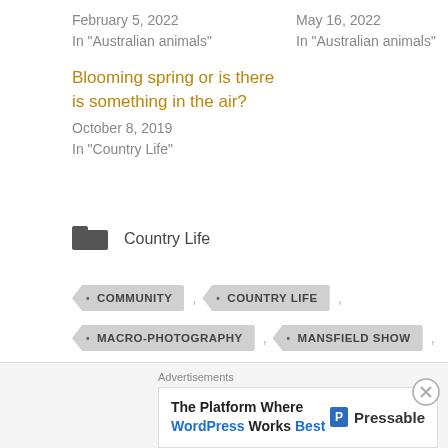February 5, 2022
In "Australian animals"
May 16, 2022
In "Australian animals"
Blooming spring or is there is something in the air?
October 8, 2019
In "Country Life"
Country Life
COMMUNITY
COUNTRY LIFE
MACRO-PHOTOGRAPHY
MANSFIELD SHOW
NATURE
PHOTOGRAPHY
Advertisements
The Platform Where WordPress Works Best  Pressable